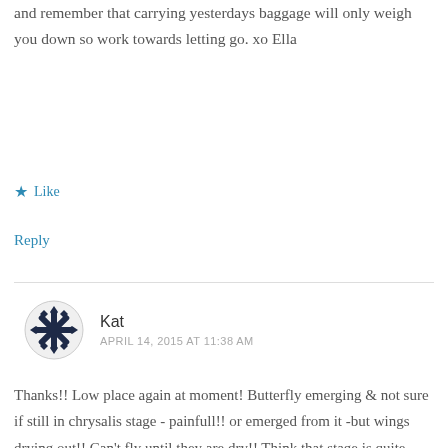and remember that carrying yesterdays baggage will only weigh you down so work towards letting go. xo Ella
★ Like
Reply
Kat
APRIL 14, 2015 AT 11:38 AM
Thanks!! Low place again at moment! Butterfly emerging & not sure if still in chrysalis stage - painfull!! or emerged from it -but wings drying out!! Can't fly until they are dry!! Think that stage is quite hard too!!